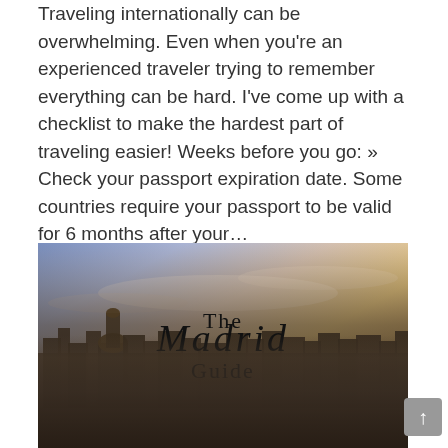Traveling internationally can be overwhelming. Even when you're an experienced traveler trying to remember everything can be hard. I've come up with a checklist to make the hardest part of traveling easier! Weeks before you go: » Check your passport expiration date. Some countries require your passport to be valid for 6 months after your…
[Figure (photo): Aerial cityscape photo of Madrid at sunset/dusk with pink and golden sky, overlaid with the text 'The Madrid Guide' in serif and script fonts]